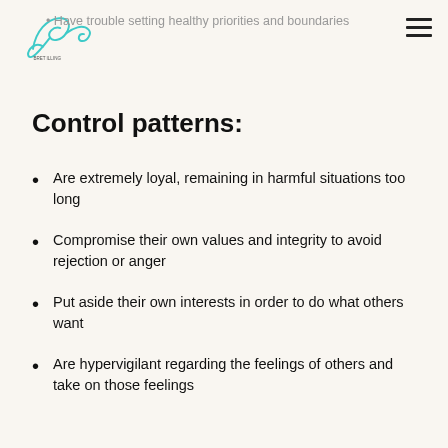Have trouble setting healthy priorities and boundaries
Control patterns:
Are extremely loyal, remaining in harmful situations too long
Compromise their own values and integrity to avoid rejection or anger
Put aside their own interests in order to do what others want
Are hypervigilant regarding the feelings of others and take on those feelings